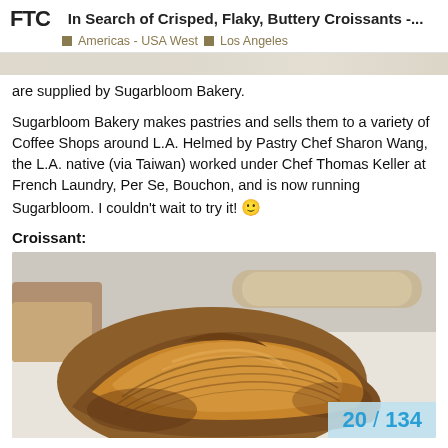FTC  In Search of Crisped, Flaky, Buttery Croissants -...  Americas - USA West  Los Angeles
are supplied by Sugarbloom Bakery.
Sugarbloom Bakery makes pastries and sells them to a variety of Coffee Shops around L.A. Helmed by Pastry Chef Sharon Wang, the L.A. native (via Taiwan) worked under Chef Thomas Keller at French Laundry, Per Se, Bouchon, and is now running Sugarbloom. I couldn't wait to try it! 🙂
Croissant:
[Figure (photo): Close-up photo of a golden-brown, flaky, laminated croissant on white parchment paper, with another pastry visible in the background.]
20 / 134